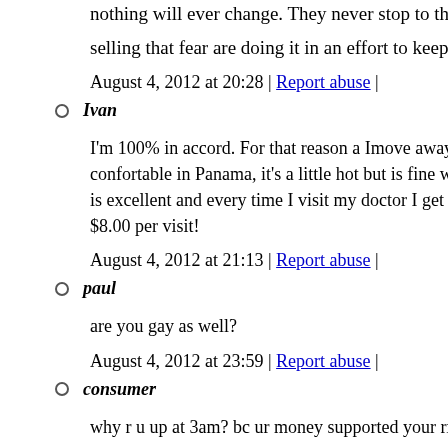nothing will ever change. They never stop to think that p selling that fear are doing it in an effort to keep lining th
August 4, 2012 at 20:28 | Report abuse |
Ivan
I'm 100% in accord. For that reason a Imove away from confortable in Panama, it's a little hot but is fine with me is excellent and every time I visit my doctor I get a 15% $8.00 per visit!
August 4, 2012 at 21:13 | Report abuse |
paul
are you gay as well?
August 4, 2012 at 23:59 | Report abuse |
consumer
why r u up at 3am? bc ur money supported your rx drug
August 5, 2012 at 06:15 | Report abuse |
LAD
That is okay, karma will catch up with you "big wigs".